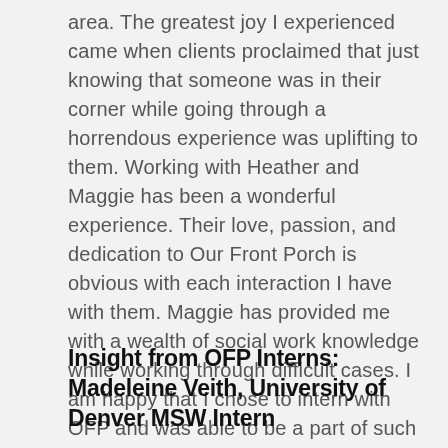area.  The greatest joy I experienced came when clients proclaimed that just knowing that someone was in their corner while going through a horrendous experience was uplifting to them.  Working with Heather and Maggie has been a wonderful experience.  Their love, passion, and dedication to Our Front Porch is obvious with each interaction I have with them.  Maggie has provided me with a wealth of social work knowledge while working through difficult cases.  I am happy that I chose to intern with OFP and was able to be a part of such a wonderful agency built by two unique women.
Insight from OFP Interns: Madeleine Veith, University of Denver MSW Intern